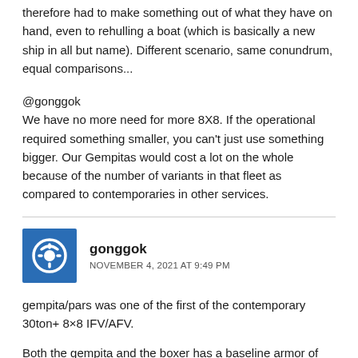therefore had to make something out of what they have on hand, even to rehulling a boat (which is basically a new ship in all but name). Different scenario, same conundrum, equal comparisons...
@gonggok
We have no more need for more 8X8. If the operational required something smaller, you can't just use something bigger. Our Gempitas would cost a lot on the whole because of the number of variants in that fleet as compared to contemporaries in other services.
gonggok
NOVEMBER 4, 2021 AT 9:49 PM
gempita/pars was one of the first of the contemporary 30ton+ 8×8 IFV/AFV.
Both the gempita and the boxer has a baseline armor of